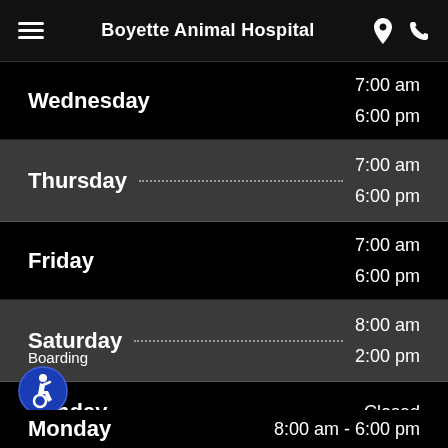Boyette Animal Hospital
| Day | Hours |
| --- | --- |
| Wednesday | 7:00 am
6:00 pm |
| Thursday | 7:00 am
6:00 pm |
| Friday | 7:00 am
6:00 pm |
| Saturday | 8:00 am
2:00 pm |
| Sunday | Closed |
| Monday | 8:00 am - 6:00 pm |
Boarding